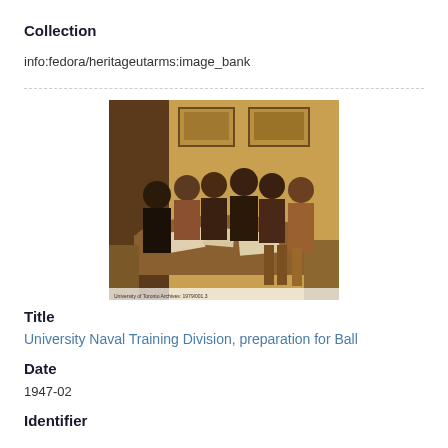Collection
info:fedora/heritageutarms:image_bank
[Figure (photo): Black and white historical photograph (with sepia tones) showing a group of people seated around a table, appearing to be working on documents. Two framed pictures hang on the wall in the background. The scene appears to be from the 1940s era.]
Title
University Naval Training Division, preparation for Ball
Date
1947-02
Identifier